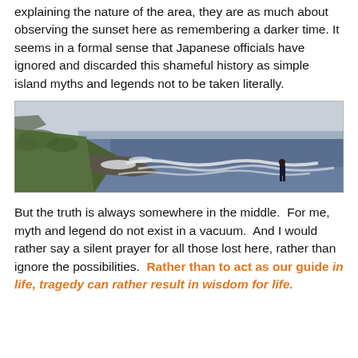explaining the nature of the area, they are as much about observing the sunset here as remembering a darker time. It seems in a formal sense that Japanese officials have ignored and discarded this shameful history as simple island myths and legends not to be taken literally.
[Figure (photo): A coastal landscape photograph showing a grassy clifftop on the left, rocky shoreline, and ocean with white surf waves. A small figure of a person stands near the water on the right side. The sky is overcast grey.]
But the truth is always somewhere in the middle.  For me, myth and legend do not exist in a vacuum.  And I would rather say a silent prayer for all those lost here, rather than ignore the possibilities.  Rather than to act as our guide in life, tragedy can rather result in wisdom for life.